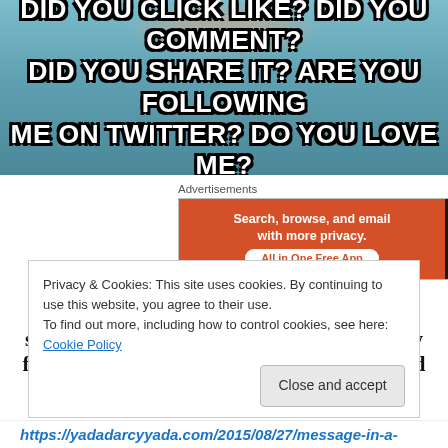[Figure (photo): Meme image of a person with bold white text overlaid reading: DID YOU CLICK LIKE? DID YOU COMMENT? DID YOU SHARE IT? ARE YOU FOLLOWING ME ON TWITTER? DO YOU LOVE ME?]
Advertisements
[Figure (other): DuckDuckGo advertisement banner: Search, browse, and email with more privacy. All in One Free App.]
Truth is, blogging, vlogging, YouTubing, social media, etc., these are work, not money for nothing, not clicks for free and I've heard rumours some people make
Privacy & Cookies: This site uses cookies. By continuing to use this website, you agree to their use.
To find out more, including how to control cookies, see here: Cookie Policy
https://yadadarcyyada.com/2015/08/27/message-in-a-